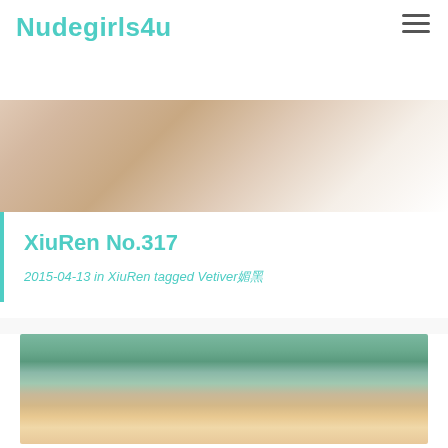Nudegirls4u
[Figure (photo): Hero banner photo of a woman in white lace outfit, cropped view]
XiuRen No.317
2015-04-13 in XiuRen tagged Vetiver媚黑
[Figure (photo): Photo of a young woman in gold bikini posing by an outdoor pool with mountains and trees in the background]